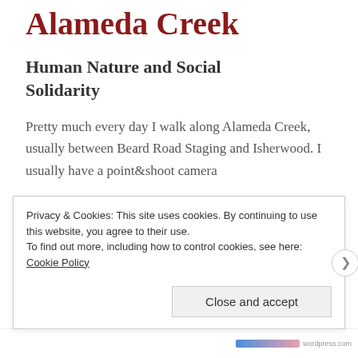Alameda Creek
Human Nature and Social Solidarity
Pretty much every day I walk along Alameda Creek, usually between Beard Road Staging and Isherwood. I usually have a point&shoot camera
Privacy & Cookies: This site uses cookies. By continuing to use this website, you agree to their use.
To find out more, including how to control cookies, see here: Cookie Policy
Close and accept